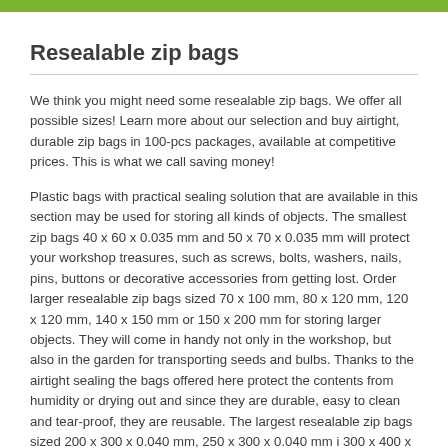Resealable zip bags
We think you might need some resealable zip bags. We offer all possible sizes! Learn more about our selection and buy airtight, durable zip bags in 100-pcs packages, available at competitive prices. This is what we call saving money!
Plastic bags with practical sealing solution that are available in this section may be used for storing all kinds of objects. The smallest zip bags 40 x 60 x 0.035 mm and 50 x 70 x 0.035 mm will protect your workshop treasures, such as screws, bolts, washers, nails, pins, buttons or decorative accessories from getting lost. Order larger resealable zip bags sized 70 x 100 mm, 80 x 120 mm, 120 x 120 mm, 140 x 150 mm or 150 x 200 mm for storing larger objects. They will come in handy not only in the workshop, but also in the garden for transporting seeds and bulbs. Thanks to the airtight sealing the bags offered here protect the contents from humidity or drying out and since they are durable, easy to clean and tear-proof, they are reusable. The largest resealable zip bags sized 200 x 300 x 0.040 mm, 250 x 300 x 0.040 mm i 300 x 400 x 0.040 mm enable you to safely store and protect important documents, files, letters, user manuals, but you may also carry